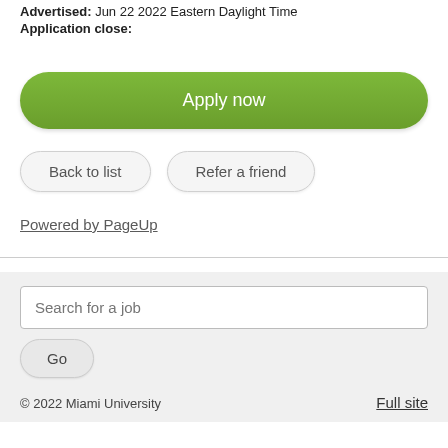Advertised: Jun 22 2022 Eastern Daylight Time
Application close:
Apply now
Back to list
Refer a friend
Powered by PageUp
Search for a job
Go
© 2022 Miami University    Full site